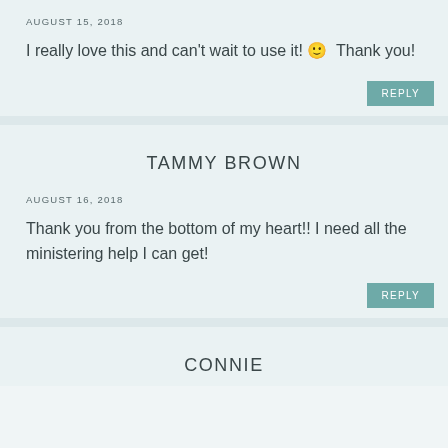AUGUST 15, 2018
I really love this and can't wait to use it! 🙂  Thank you!
REPLY
TAMMY BROWN
AUGUST 16, 2018
Thank you from the bottom of my heart!! I need all the ministering help I can get!
REPLY
CONNIE